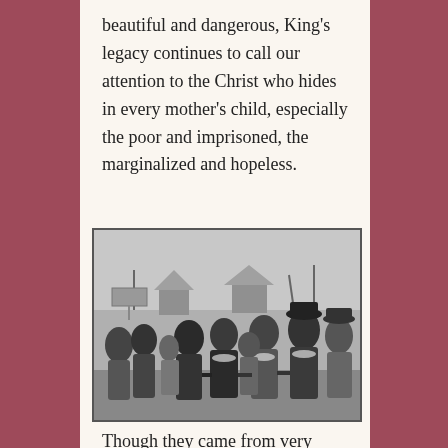beautiful and dangerous, King's legacy continues to call our attention to the Christ who hides in every mother's child, especially the poor and imprisoned, the marginalized and hopeless.
[Figure (photo): Black and white historical photograph of a group of civil rights marchers walking arm-in-arm on a street, including Martin Luther King Jr. and other leaders wearing leis, with a crowd of people behind them and houses and bare trees visible in the background.]
Though they came from very